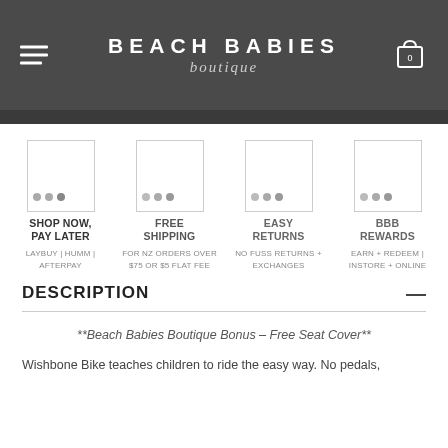BEACH BABIES boutique
[Figure (infographic): Four feature icons with labels: SHOP NOW, PAY LATER (LAYBUY | HUMM | AFTERPAY), FREE SHIPPING (FOR NZ ORDERS OVER $75 OR $5 FLAT FEE), EASY RETURNS (NO FUSS RETURNS + EXCHANGES), BBB REWARDS (EARN + REDEEM | INSTORE + ONLINE)]
DESCRIPTION
**Beach Babies Boutique Bonus – Free Seat Cover**
Wishbone Bike teaches children to ride the easy way. No pedals,